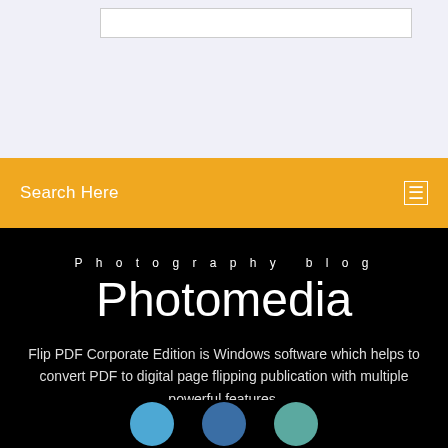[Figure (screenshot): Top light purple/gray section with a white input box outline visible at top]
Search Here
Photography blog
Photomedia
Flip PDF Corporate Edition is Windows software which helps to convert PDF to digital page flipping publication with multiple powerful features.
[Figure (illustration): Three partial circular avatar icons at the bottom of the page on black background]